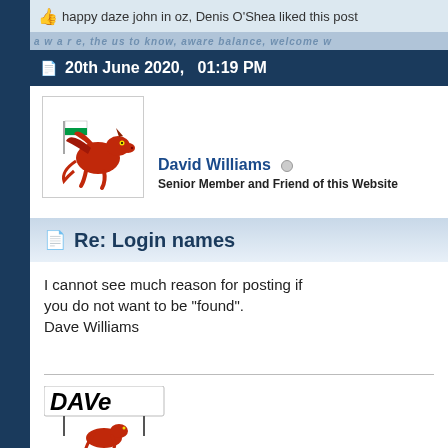happy daze john in oz, Denis O'Shea liked this post
20th June 2020,   01:19 PM
[Figure (illustration): Avatar of a red Welsh dragon holding a Welsh flag, white background]
David Williams
Senior Member and Friend of this Website
Re: Login names
I cannot see much reason for posting if you do not want to be "found".
Dave Williams
[Figure (illustration): Signature image: Red Welsh dragon holding a sign that reads DAVE]